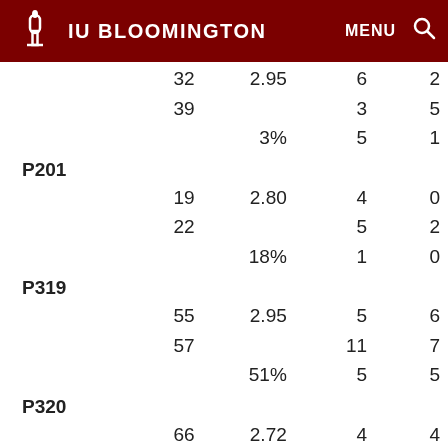IU BLOOMINGTON   MENU  🔍
|  | Col1 | Col2 | Col3 | Col4 |
| --- | --- | --- | --- | --- |
|  | 32 | 2.95 | 6 | 2 |
|  | 39 |  | 3 | 5 |
|  |  | 3% | 5 | 1 |
| P201 |  |  |  |  |
|  | 19 | 2.80 | 4 | 0 |
|  | 22 |  | 5 | 2 |
|  |  | 18% | 1 | 0 |
| P319 |  |  |  |  |
|  | 55 | 2.95 | 5 | 6 |
|  | 57 |  | 11 | 7 |
|  |  | 51% | 5 | 5 |
| P320 |  |  |  |  |
|  | 66 | 2.72 | 4 | 4 |
|  | 70 |  | 7 | 10 |
|  |  | 43% | 8 | 9 |
| P324 |  |  |  |  |
|  | 88 | 2.97 | 10 | 15 |